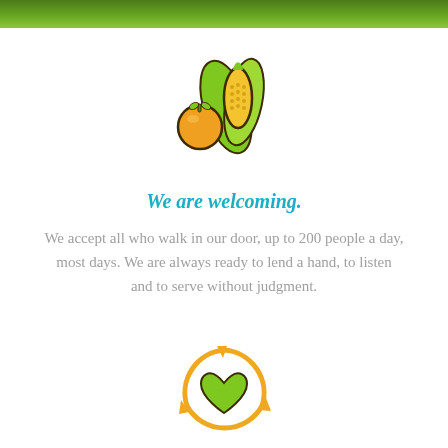[Figure (illustration): Illustrated food icons: an orange/tomato and a corn cob with green leaves, drawn in a colorful cartoon style with dark outlines.]
We are welcoming.
We accept all who walk in our door, up to 200 people a day, most days. We are always ready to lend a hand, to listen and to serve without judgment.
[Figure (illustration): Illustrated recycling/heart icon: a green heart in the center surrounded by circular yellow recycling arrows, drawn in a colorful cartoon style.]